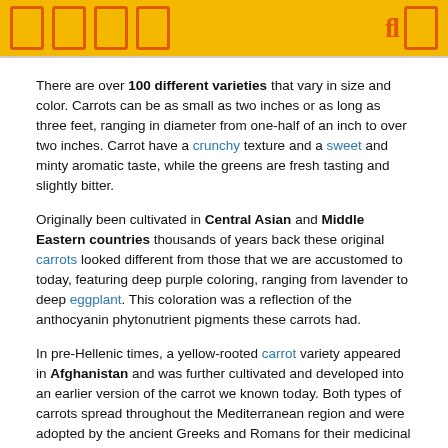[icons] [fl icon]
There are over 100 different varieties that vary in size and color. Carrots can be as small as two inches or as long as three feet, ranging in diameter from one-half of an inch to over two inches. Carrot have a crunchy texture and a sweet and minty aromatic taste, while the greens are fresh tasting and slightly bitter.
Originally been cultivated in Central Asian and Middle Eastern countries thousands of years back these original carrots looked different from those that we are accustomed to today, featuring deep purple coloring, ranging from lavender to deep eggplant. This coloration was a reflection of the anthocyanin phytonutrient pigments these carrots had.
In pre-Hellenic times, a yellow-rooted carrot variety appeared in Afghanistan and was further cultivated and developed into an earlier version of the carrot we known today. Both types of carrots spread throughout the Mediterranean region and were adopted by the ancient Greeks and Romans for their medicinal use.